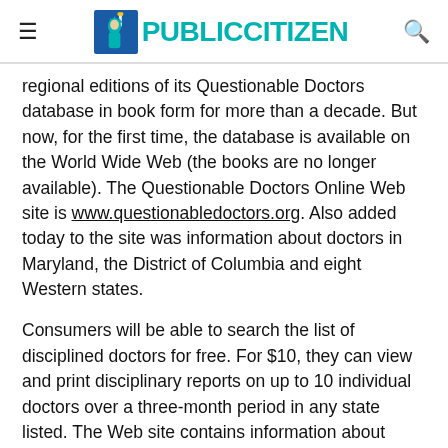PUBLIC CITIZEN
regional editions of its Questionable Doctors database in book form for more than a decade. But now, for the first time, the database is available on the World Wide Web (the books are no longer available). The Questionable Doctors Online Web site is www.questionabledoctors.org. Also added today to the site was information about doctors in Maryland, the District of Columbia and eight Western states.
Consumers will be able to search the list of disciplined doctors for free. For $10, they can view and print disciplinary reports on up to 10 individual doctors over a three-month period in any state listed. The Web site contains information about doctors in Alabama, Alaska, California, Colorado, Connecticut, the District of Columbia, Florida, Georgia, Hawaii, Idaho, Illinois, Indiana, Maine, Maryland,